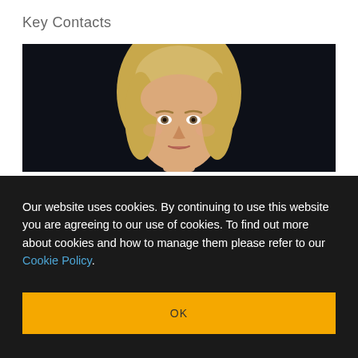Key Contacts
[Figure (photo): Headshot photograph of a blonde woman against a dark background]
Our website uses cookies. By continuing to use this website you are agreeing to our use of cookies. To find out more about cookies and how to manage them please refer to our Cookie Policy.
OK